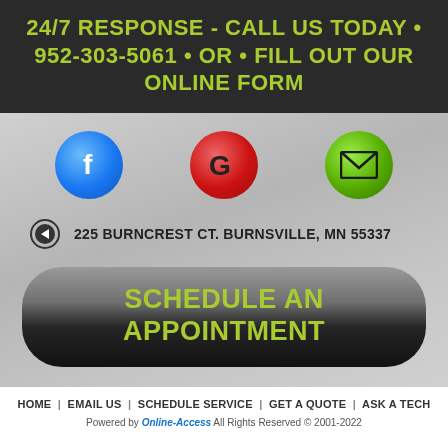24/7 RESPONSE - CALL US TODAY • 952-303-5061 • OR • FILL OUT OUR ONLINE FORM
[Figure (infographic): Three social/contact icons: Facebook (blue circle with f), Google (red circle with G), Email (green circle with envelope)]
225 BURNCREST CT. BURNSVILLE, MN 55337
SCHEDULE AN APPOINTMENT
HOME | EMAIL US | SCHEDULE SERVICE | GET A QUOTE | ASK A TECH
Powered by Online-Access All Rights Reserved © 2001-2022